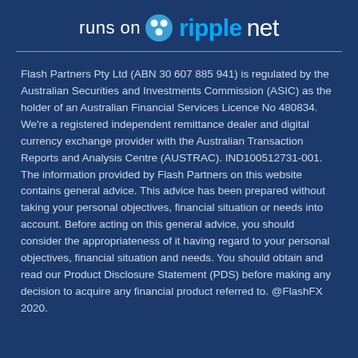[Figure (logo): runs on ripple net logo with Ripple brand icon]
Flash Partners Pty Ltd (ABN 30 607 885 941) is regulated by the Australian Securities and Investments Commission (ASIC) as the holder of an Australian Financial Services Licence No 480834. We're a registered independent remittance dealer and digital currency exchange provider with the Australian Transaction Reports and Analysis Centre (AUSTRAC). IND100512731-001. The information provided by Flash Partners on this website contains general advice. This advice has been prepared without taking your personal objectives, financial situation or needs into account. Before acting on this general advice, you should consider the appropriateness of it having regard to your personal objectives, financial situation and needs. You should obtain and read our Product Disclosure Statement (PDS) before making any decision to acquire any financial product referred to. @FlashFX 2020.